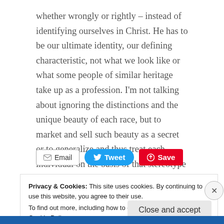whether wrongly or rightly – instead of identifying ourselves in Christ. He has to be our ultimate identity, our defining characteristic, not what we look like or what some people of similar heritage take up as a profession. I'm not talking about ignoring the distinctions and the unique beauty of each race, but to market and sell such beauty as a secret or to generalize and thus treat each individual on the basis of that stereotype is straight up wrong.
Email | Tweet | Save
Privacy & Cookies: This site uses cookies. By continuing to use this website, you agree to their use. To find out more, including how to control cookies, see here: Cookie Policy
Close and accept